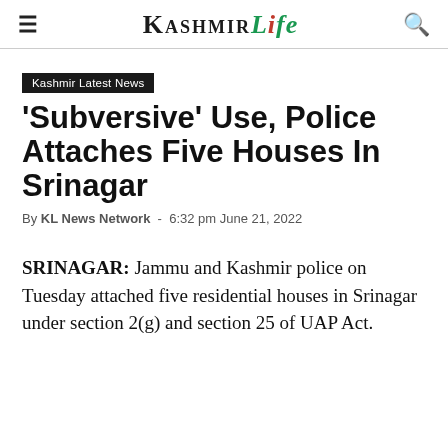Kashmir Life
Kashmir Latest News
'Subversive' Use, Police Attaches Five Houses In Srinagar
By KL News Network - 6:32 pm June 21, 2022
SRINAGAR: Jammu and Kashmir police on Tuesday attached five residential houses in Srinagar under section 2(g) and section 25 of UAP Act.